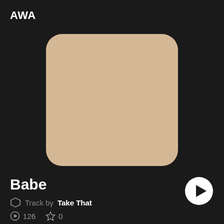AWA
[Figure (illustration): Album art placeholder: a rounded square filled with a solid beige/tan color (#d4b896) on a dark background]
Babe
Track by Take That
126  0